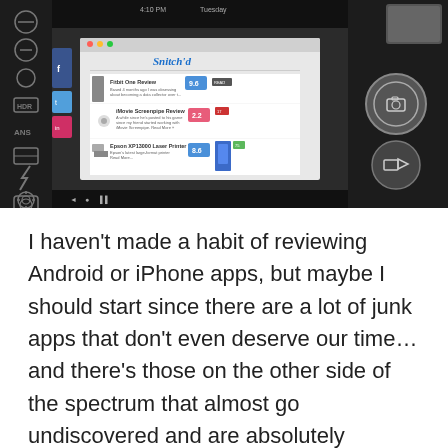[Figure (screenshot): Screenshot of an Android camera app showing a camera viewfinder with a website visible in the center displaying 'Snitch'd' review site with product reviews. Left sidebar shows camera control icons, right sidebar shows camera and video capture buttons.]
I haven't made a habit of reviewing Android or iPhone apps, but maybe I should start since there are a lot of junk apps that don't even deserve our time… and there's those on the other side of the spectrum that almost go undiscovered and are absolutely